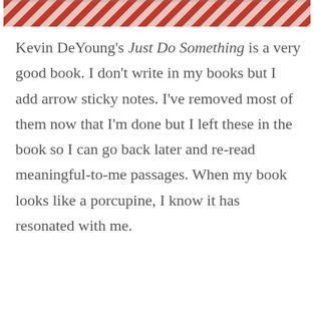[Figure (photo): Partial view of a book cover with red and white striped pattern at the top of the page]
Kevin DeYoung’s Just Do Something is a very good book. I don’t write in my books but I add arrow sticky notes. I’ve removed most of them now that I’m done but I left these in the book so I can go back later and re-read meaningful-to-me passages. When my book looks like a porcupine, I know it has resonated with me.